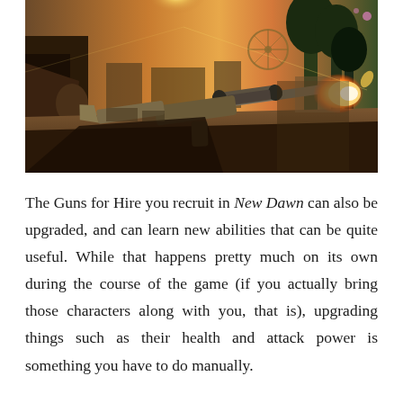[Figure (screenshot): First-person shooter game screenshot from Far Cry New Dawn. A player character holds a weapon on the left side while another character in the foreground aims a scoped rifle that is muzzle-flashing. The background shows a post-apocalyptic outdoor environment with warm golden sunset lighting, trees, structures, and a Ferris wheel visible in the distance.]
The Guns for Hire you recruit in New Dawn can also be upgraded, and can learn new abilities that can be quite useful. While that happens pretty much on its own during the course of the game (if you actually bring those characters along with you, that is), upgrading things such as their health and attack power is something you have to do manually.